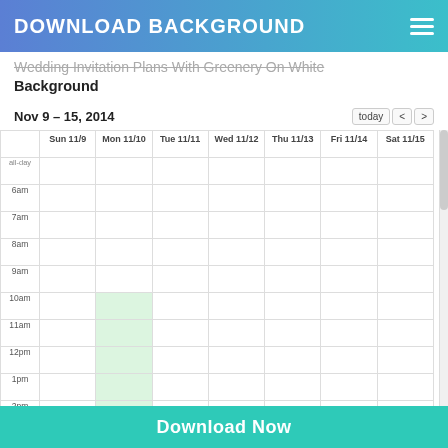DOWNLOAD BACKGROUND
Wedding Invitation Plans With Greenery On White Background
Nov 9 – 15, 2014
[Figure (screenshot): Google Calendar weekly view showing Nov 9-15, 2014. Monday 11/10 has a green highlighted block from 10am to approximately 3:30pm (an all-day or long event). The calendar shows time slots from all-day through 6pm. Days shown: Sun 11/9, Mon 11/10, Tue 11/11, Wed 11/12, Thu 11/13, Fri 11/14, Sat 11/15.]
Download Now